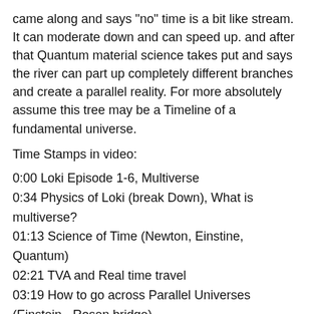came along and says "no" time is a bit like stream. It can moderate down and can speed up. and after that Quantum material science takes put and says the river can part up completely different branches and create a parallel reality. For more absolutely assume this tree may be a Timeline of a fundamental universe.
Time Stamps in video:
0:00 Loki Episode 1-6, Multiverse
0:34 Physics of Loki (break Down), What is multiverse?
01:13 Science of Time (Newton, Einstine, Quantum)
02:21 TVA and Real time travel
03:19 How to go across Parallel Universes (Einstein - Rosen bridge)
03:45 We Need Answer! Absolute broken
"Loki" is an American television series based on Marvel Comics featuring the character of the same name. Set in the Marvel Cinematic Universe (MCU), it shares continuity with the films of the franchise and takes place after the events of the film Avengers: Endgame (2019), in which an alternate